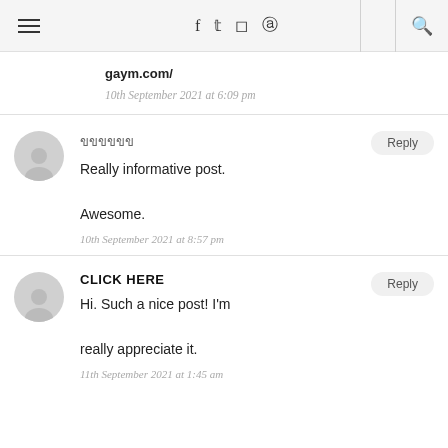≡  f  twitter  instagram  pinterest  🔍
gaym.com/
10th September 2021 at 6:09 pm
ขขขขขข
Really informative post.

Awesome.
10th September 2021 at 8:57 pm
CLICK HERE
Hi. Such a nice post! I'm really appreciate it.
11th September 2021 at 1:45 am